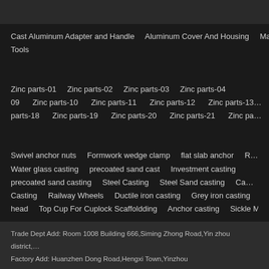Cast Aluminum Adapter and Handle   Aluminum Cover And Housing   Manifold   Aluminum Machinery Components   Aluminum Ornamental Ap... Tools
Zinc parts-01   Zinc parts-02   Zinc parts-03   Zinc parts-04   09   Zinc parts-10   Zinc parts-11   Zinc parts-12   Zinc parts-13   parts-18   Zinc parts-19   Zinc parts-20   Zinc parts-21   Zinc pa...
Swivel anchor nuts   Formwork wedge clamp   flat slab anchor   R   Water glass casting   precoated sand cast   Investment casting   precoated sand casting   Steel Casting   Steel Sand casting   Ca...   Casting   Railway Wheels   Ductile iron casting   Grey iron casting   head   Top Cup For Cuplock Scaffoldding   Anchor casting   Sickle M...
Trade Dept Add: Room 1008 Building 666,Siming Zhong Road,Yin zhou district,...
Factory Add: Huanzhen Dong Road,Hengxi Town,Yinzhou district,Ningbo,Zhejia...
Tel:086-574-88189478  Fax:086-574-28870228; Email: admin@nord-foundy.co...
Link: Steel casting  Casing  Sand casting  Forging  Die forging  Precisio...